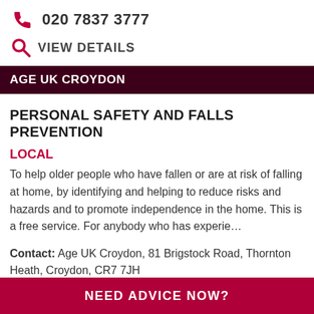020 7837 3777
VIEW DETAILS
AGE UK CROYDON
PERSONAL SAFETY AND FALLS PREVENTION
LOCAL
To help older people who have fallen or are at risk of falling at home, by identifying and helping to reduce risks and hazards and to promote independence in the home. This is a free service. For anybody who has experie…
Contact: Age UK Croydon, 81 Brigstock Road, Thornton Heath, Croydon, CR7 7JH
NEED ADVICE NOW?